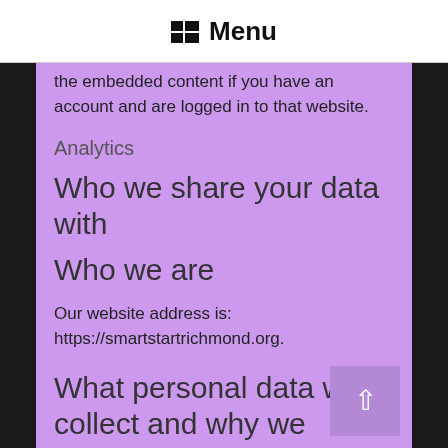Menu
the embedded content if you have an account and are logged in to that website.
Analytics
Who we share your data with
Who we are
Our website address is: https://smartstartrichmond.org.
What personal data we collect and why we collect it